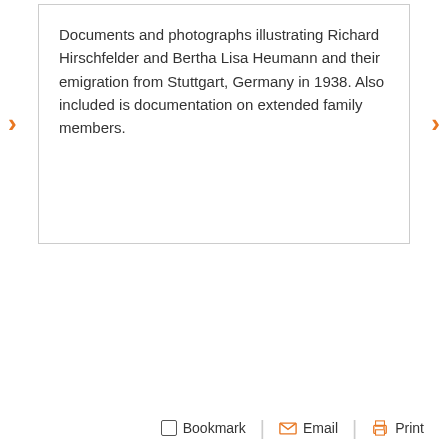Documents and photographs illustrating Richard Hirschfelder and Bertha Lisa Heumann and their emigration from Stuttgart, Germany in 1938. Also included is documentation on extended family members.
VIEW ALL 53 ITEMS IN THE COLLECTION
Bookmark   Email   Print